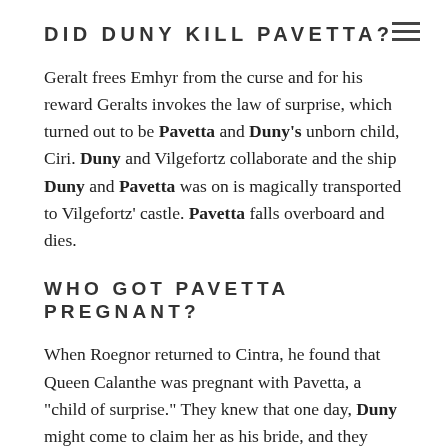DID DUNY KILL PAVETTA?
Geralt frees Emhyr from the curse and for his reward Geralts invokes the law of surprise, which turned out to be Pavetta and Duny's unborn child, Ciri. Duny and Vilgefortz collaborate and the ship Duny and Pavetta was on is magically transported to Vilgefortz' castle. Pavetta falls overboard and dies.
WHO GOT PAVETTA PREGNANT?
When Roegnor returned to Cintra, he found that Queen Calanthe was pregnant with Pavetta, a "child of surprise." They knew that one day, Duny might come to claim her as his bride, and they would be unable to refuse him, for fear of defying destiny: when characters in The Witcher talk about destiny, it is